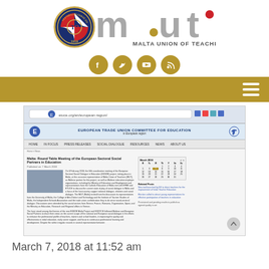[Figure (logo): Malta Union of Teachers (MUT) logo with emblem showing '1919' and MUT text with dots]
[Figure (infographic): Social media icons row: Facebook, Twitter, YouTube, RSS feed — all gold circular icons]
[Figure (screenshot): Screenshot of European Trade Union Committee for Education website showing article about 'Malta: Round Table Meeting of the European Sectoral Social Partners in Education']
March 7, 2018 at 11:52 am